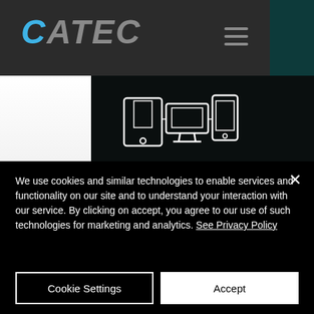[Figure (logo): CATEC logo with C in cyan/blue italic and ATEC in gray italic, with hamburger menu icon on the right]
[Figure (illustration): White line icon of devices: tablet, desktop monitor, and mobile phone connected together]
Simple Software
Manage your stations and give your EV drivers easy access to all of Shabik online and mobile app tool
We use cookies and similar technologies to enable services and functionality on our site and to understand your interaction with our service. By clicking on accept, you agree to our use of such technologies for marketing and analytics. See Privacy Policy